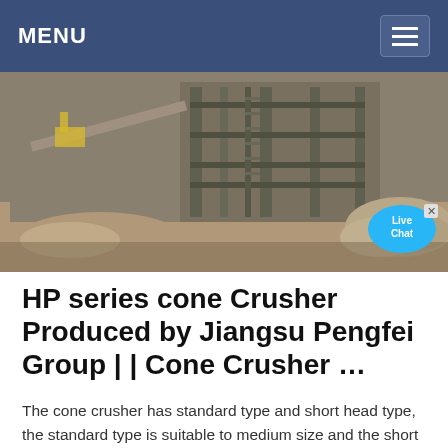MENU
[Figure (photo): Industrial cone crusher equipment at a mining or quarrying site, showing large machinery, structural steel framework, and piles of crushed rock material outdoors.]
HP series cone Crusher Produced by Jiangsu Pengfei Group | | Cone Crusher …
The cone crusher has standard type and short head type, the standard type is suitable to medium size and the short head type for medium and fine crushing. HP Series Multi-cylinder Hydraulic Cone Crusher is one of advanced cone crushers in China, which is developed and manufactured